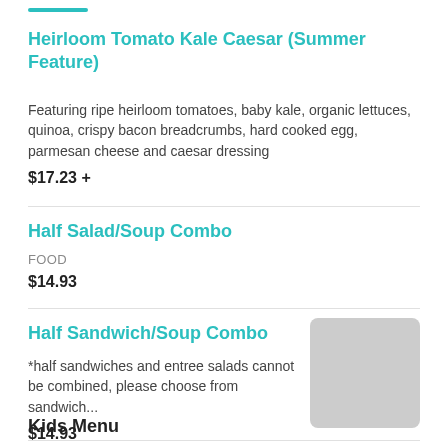Heirloom Tomato Kale Caesar (Summer Feature)
Featuring ripe heirloom tomatoes, baby kale, organic lettuces, quinoa, crispy bacon breadcrumbs, hard cooked egg, parmesan cheese and caesar dressing
$17.23 +
Half Salad/Soup Combo
FOOD
$14.93
Half Sandwich/Soup Combo
*half sandwiches and entree salads cannot be combined, please choose from sandwich...
$14.93
[Figure (photo): Placeholder image thumbnail for Half Sandwich/Soup Combo]
Kids Menu